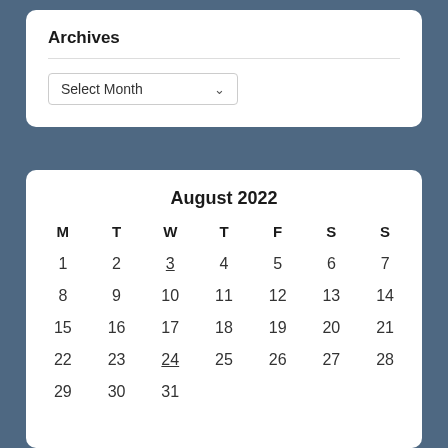Archives
Select Month
| M | T | W | T | F | S | S |
| --- | --- | --- | --- | --- | --- | --- |
| 1 | 2 | 3 | 4 | 5 | 6 | 7 |
| 8 | 9 | 10 | 11 | 12 | 13 | 14 |
| 15 | 16 | 17 | 18 | 19 | 20 | 21 |
| 22 | 23 | 24 | 25 | 26 | 27 | 28 |
| 29 | 30 | 31 |  |  |  |  |